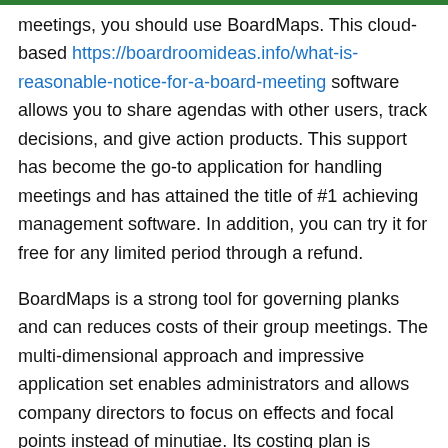meetings, you should use BoardMaps. This cloud-based https://boardroomideas.info/what-is-reasonable-notice-for-a-board-meeting software allows you to share agendas with other users, track decisions, and give action products. This support has become the go-to application for handling meetings and has attained the title of #1 achieving management software. In addition, you can try it for free for any limited period through a refund.
BoardMaps is a strong tool for governing planks and can reduces costs of their group meetings. The multi-dimensional approach and impressive application set enables administrators and allows company directors to focus on effects and focal points instead of minutiae. Its costing plan is certainly flexible, therefore there is a package that